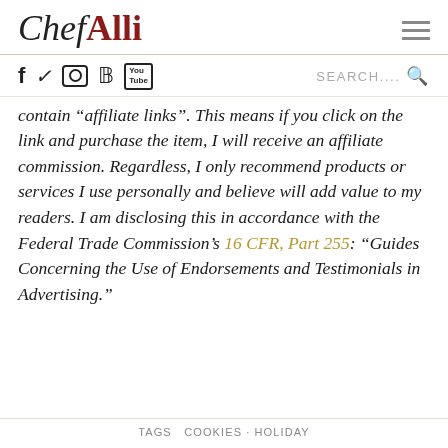Chef Alli
f  ✓  ○  ℗  You  SEARCH....
contain “affiliate links”. This means if you click on the link and purchase the item, I will receive an affiliate commission. Regardless, I only recommend products or services I use personally and believe will add value to my readers. I am disclosing this in accordance with the Federal Trade Commission’s 16 CFR, Part 255: “Guides Concerning the Use of Endorsements and Testimonials in Advertising.”
TAGS  COOKIES · HOLIDAY